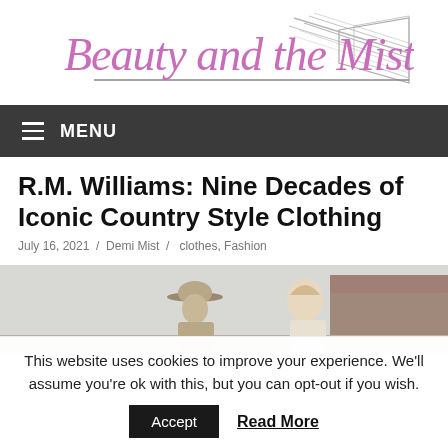[Figure (logo): Beauty and the Mist logo with pink cursive text and stylized graphic element on the right]
MENU
R.M. Williams: Nine Decades of Iconic Country Style Clothing
July 16, 2021 / Demi Mist / clothes, Fashion
[Figure (photo): Photo of a man in a wide-brim hat and a woman, outdoors with a building in the background]
This website uses cookies to improve your experience. We'll assume you're ok with this, but you can opt-out if you wish.
Accept   Read More